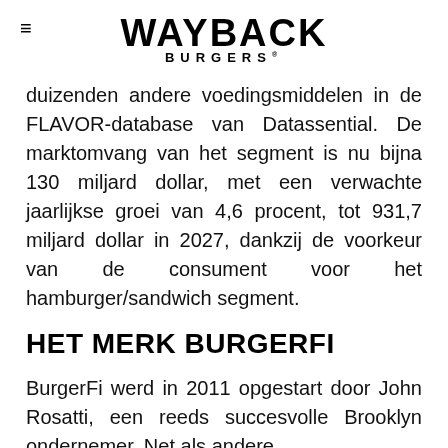WAYBACK BURGERS
duizenden andere voedingsmiddelen in de FLAVOR-database van Datassential. De marktomvang van het segment is nu bijna 130 miljard dollar, met een verwachte jaarlijkse groei van 4,6 procent, tot 931,7 miljard dollar in 2027, dankzij de voorkeur van de consument voor het hamburger/sandwich segment.
HET MERK BURGERFI
BurgerFi werd in 2011 opgestart door John Rosatti, een reeds succesvolle Brooklyn ondernemer. Net als andere